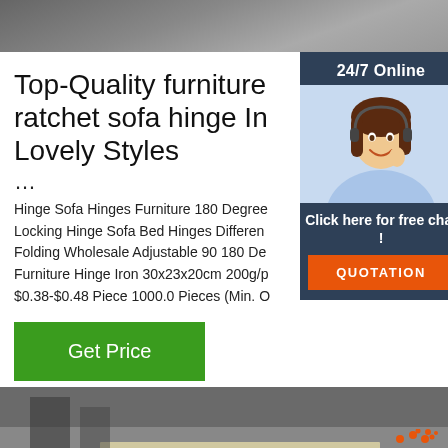[Figure (photo): Top cropped product photo showing dark background, partial view of furniture hardware/ratchet sofa hinge]
Top-Quality furniture ratchet sofa hinge In Lovely Styles ...
...
Hinge Sofa Hinges Furniture 180 Degree Locking Hinge Sofa Bed Hinges Different Folding Wholesale Adjustable 90 180 Degree Furniture Hinge Iron 30x23x20cm 200g/p $0.38-$0.48 Piece 1000.0 Pieces (Min. O...
[Figure (photo): Customer service representative woman with headset smiling, overlaid on dark blue sidebar widget with 24/7 Online header, Click here for free chat text, and QUOTATION orange button]
[Figure (photo): Bottom image of warehouse or manufacturing facility with stacked furniture panels and materials, with orange TOP logo overlay in bottom right corner]